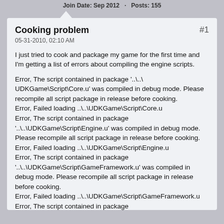Join Date: Sep 2012   Posts: 155
Cooking problem
05-31-2010, 02:10 AM
I just tried to cook and package my game for the first time and I'm getting a list of errors about compiling the engine scripts.

Error, The script contained in package '..\..\UDKGame\Script\Core.u' was compiled in debug mode. Please recompile all script package in release before cooking.
Error, Failed loading ..\..\UDKGame\Script\Core.u
Error, The script contained in package '..\..\UDKGame\Script\Engine.u' was compiled in debug mode. Please recompile all script package in release before cooking.
Error, Failed loading ..\..\UDKGame\Script\Engine.u
Error, The script contained in package '..\..\UDKGame\Script\GameFramework.u' was compiled in debug mode. Please recompile all script package in release before cooking.
Error, Failed loading ..\..\UDKGame\Script\GameFramework.u
Error, The script contained in package '..\..\UDKGame\Script\UnrealEd.u' was compiled in debug mode. Please recompile all script package in release before cooking.
Error, Failed loading ..\..\UDKGame\Script\UnrealEd.u
Error, The script contained in package '..\..\UDKGame\Script\IpDrv.u' was compiled in debug mode. Please recompile all script package in release before cooking.
Error, Failed loading ..\..\UDKGame\Script\IpDrv.u
Error, The script contained in package '..\..\UDKGame\Script\UDKBase.u' was compiled in debug mode.